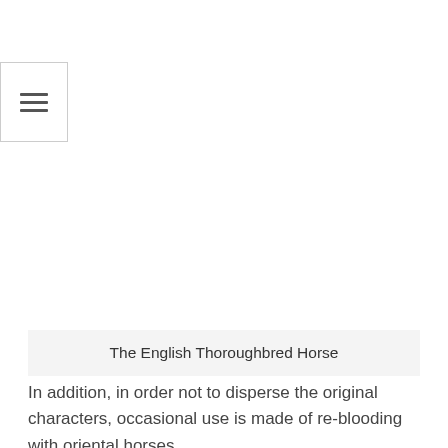[Figure (other): Hamburger/menu icon button in top-left area, a square box with three horizontal lines icon]
The English Thoroughbred Horse
In addition, in order not to disperse the original characters, occasional use is made of re-blooding with oriental horses,